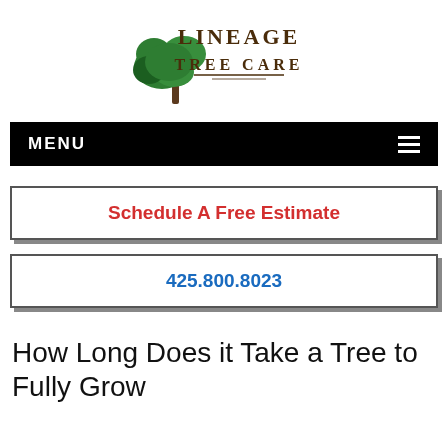[Figure (logo): Lineage Tree Care logo with a green tree illustration and stylized text 'LINEAGE TREE CARE' in brown/dark font, with 'LINEAGE' arched above and 'TREE CARE' below with a decorative underline.]
MENU
Schedule A Free Estimate
425.800.8023
How Long Does it Take a Tree to Fully Grow